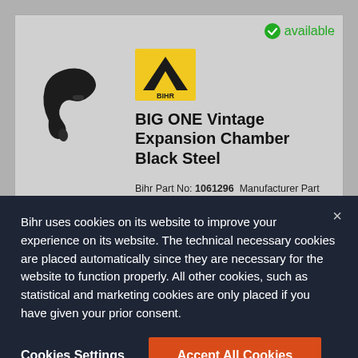[Figure (screenshot): Product listing screenshot showing a BIG ONE Vintage Expansion Chamber Black Steel motorcycle exhaust part on a grey background, with a product image of the part on the left, a brand logo (BIHR) in the center, and product details on the right. An 'available' status badge in green is in the top right corner.]
BIG ONE Vintage Expansion Chamber Black Steel
Bihr Part No: 1061296   Manufacturer Part No: EXDT125LC3BLK
Bihr former part number: 7020009602
Bihr uses cookies on its website to improve your experience on its website. The technical necessary cookies are placed automatically since they are necessary for the website to function properly. All other cookies, such as statistical and marketing cookies are only placed if you have given your prior consent.
Cookies Settings
Accept All Cookies